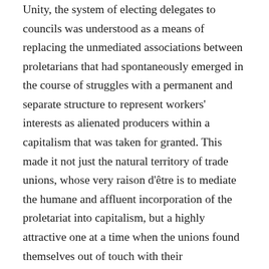Unity, the system of electing delegates to councils was understood as a means of replacing the unmediated associations between proletarians that had spontaneously emerged in the course of struggles with a permanent and separate structure to represent workers' interests as alienated producers within a capitalism that was taken for granted. This made it not just the natural territory of trade unions, whose very raison d'être is to mediate the humane and affluent incorporation of the proletariat into capitalism, but a highly attractive one at a time when the unions found themselves out of touch with their constituency. Accordingly, the metalworking unions and the Confederazione Generale Italiana del Lavoro (CGIL) adopted the delegates and the councils as constituent elements of their grassroots structure in 1970, followed